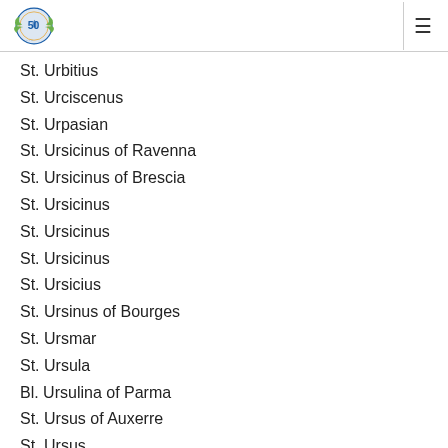[Logo: 50th anniversary emblem]
St. Urbitius
St. Urciscenus
St. Urpasian
St. Ursicinus of Ravenna
St. Ursicinus of Brescia
St. Ursicinus
St. Ursicinus
St. Ursicinus
St. Ursicius
St. Ursinus of Bourges
St. Ursmar
St. Ursula
Bl. Ursulina of Parma
St. Ursus of Auxerre
St. Ursus